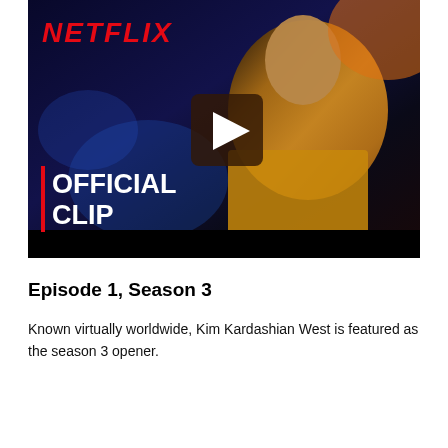[Figure (screenshot): Netflix official clip thumbnail showing a woman in a yellow turtleneck sweater with hoop earrings against a dark blue background. Netflix logo in red top-left. 'OFFICIAL CLIP' text in white bold letters bottom-left with red vertical bar. Dark play button overlay in center.]
Episode 1, Season 3
Known virtually worldwide, Kim Kardashian West is featured as the season 3 opener.